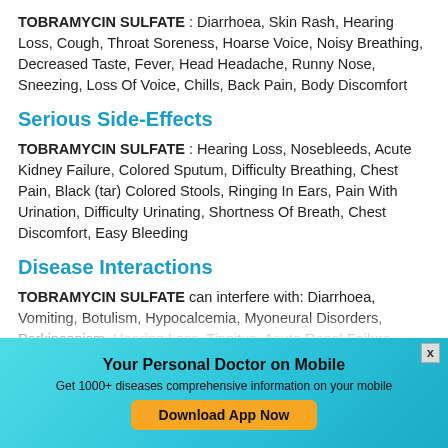TOBRAMYCIN SULFATE : Diarrhoea, Skin Rash, Hearing Loss, Cough, Throat Soreness, Hoarse Voice, Noisy Breathing, Decreased Taste, Fever, Head Headache, Runny Nose, Sneezing, Loss Of Voice, Chills, Back Pain, Body Discomfort
Serious Side-Effects
TOBRAMYCIN SULFATE : Hearing Loss, Nosebleeds, Acute Kidney Failure, Colored Sputum, Difficulty Breathing, Chest Pain, Black (tar) Colored Stools, Ringing In Ears, Pain With Urination, Difficulty Urinating, Shortness Of Breath, Chest Discomfort, Easy Bleeding
Disease Interactions
TOBRAMYCIN SULFATE can interfere with: Diarrhoea, Vomiting, Botulism, Hypocalcemia, Myoneural Disorders, Parkinsonism, Hearing Loss, Tinnitus, Acute Renal Failure
Your Personal Doctor on Mobile
Get 1000+ diseases comprehensive information on your mobile
Download App Now